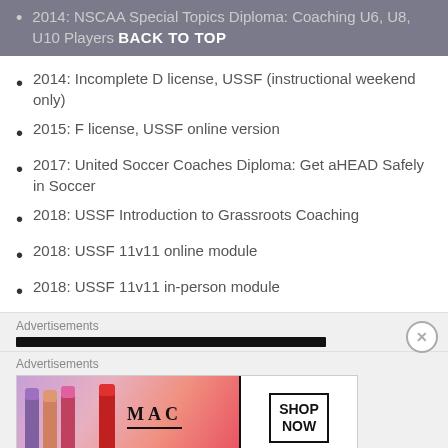2014: NSCAA Special Topics Diploma: Coaching U6, U8, U10 Players BACK TO TOP
2014: Incomplete D license, USSF (instructional weekend only)
2015: F license, USSF online version
2017: United Soccer Coaches Diploma: Get aHEAD Safely in Soccer
2018: USSF Introduction to Grassroots Coaching
2018: USSF 11v11 online module
2018: USSF 11v11 in-person module
Advertisements
[Figure (other): Advertisement banner showing MAC cosmetics lipsticks with SHOP NOW button]